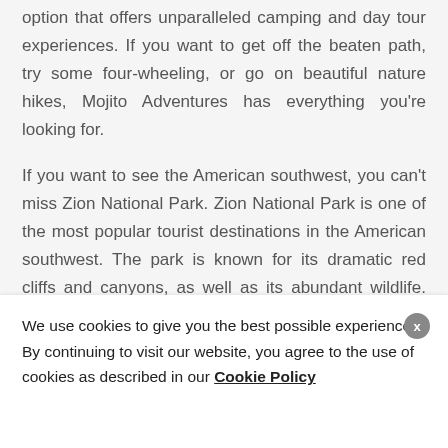option that offers unparalleled camping and day tour experiences. If you want to get off the beaten path, try some four-wheeling, or go on beautiful nature hikes, Mojito Adventures has everything you're looking for.
If you want to see the American southwest, you can't miss Zion National Park. Zion National Park is one of the most popular tourist destinations in the American southwest. The park is known for its dramatic red cliffs and canyons, as well as its abundant wildlife. Visitors can enjoy hiking, camping, and sightseeing in the park. One of the most
We use cookies to give you the best possible experience. By continuing to visit our website, you agree to the use of cookies as described in our Cookie Policy